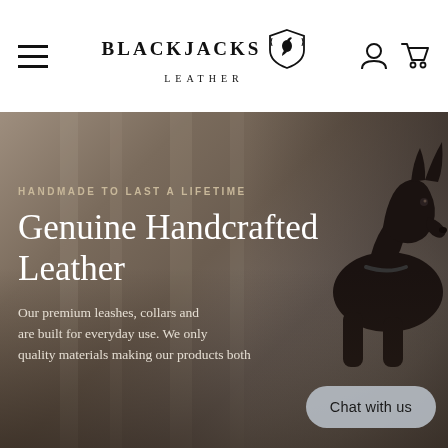BlackJacks Leather
[Figure (screenshot): Website hero section showing a black dog (hairless/Xolo breed) on a blurred brown/grey forest background with white text overlay reading 'HANDMADE TO LAST A LIFETIME' and 'Genuine Handcrafted Leather' and partial body text 'Our premium leashes, collars and are built for everyday use. We only quality materials making our products both']
HANDMADE TO LAST A LIFETIME
Genuine Handcrafted Leather
Our premium leashes, collars and are built for everyday use. We only quality materials making our products both